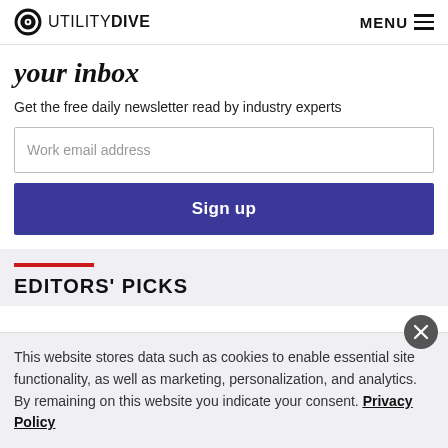UTILITY DIVE  MENU
your inbox
Get the free daily newsletter read by industry experts
Work email address
Sign up
EDITORS' PICKS
This website stores data such as cookies to enable essential site functionality, as well as marketing, personalization, and analytics. By remaining on this website you indicate your consent. Privacy Policy